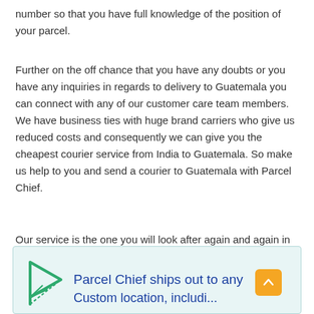number so that you have full knowledge of the position of your parcel.
Further on the off chance that you have any doubts or you have any inquiries in regards to delivery to Guatemala you can connect with any of our customer care team members. We have business ties with huge brand carriers who give us reduced costs and consequently we can give you the cheapest courier service from India to Guatemala. So make us help to you and send a courier to Guatemala with Parcel Chief.
Our service is the one you will look after again and again in future.
[Figure (infographic): A teal/light-green box with a paper airplane icon on the left and the text 'Parcel Chief ships out to any' followed by a partially visible second line, with an orange scroll-to-top button on the right.]